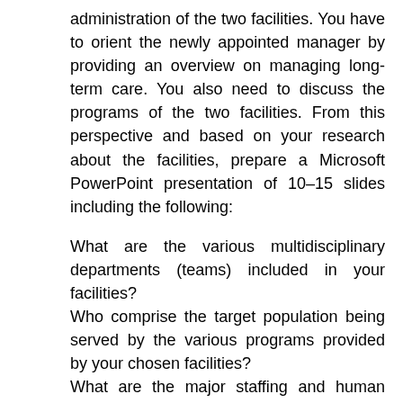administration of the two facilities. You have to orient the newly appointed manager by providing an overview on managing long-term care. You also need to discuss the programs of the two facilities. From this perspective and based on your research about the facilities, prepare a Microsoft PowerPoint presentation of 10–15 slides including the following:
What are the various multidisciplinary departments (teams) included in your facilities?
Who comprise the target population being served by the various programs provided by your chosen facilities?
What are the major staffing and human resource issues faced by your chosen facilities?
What are the significant trends in long-term care likely to impact the operation of the various programs provided by your chosen facilities, and what is your plan of action to overcome them?